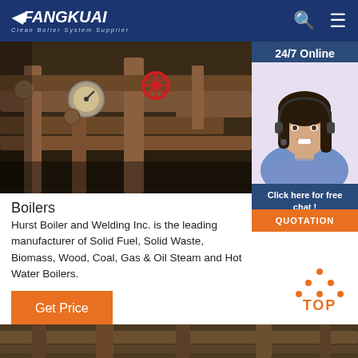FANGKUAI - Clean Boiler System Supplier
[Figure (photo): Industrial boiler pipes and valves with gauges, red valve wheel visible, rusty metal pipes in a boiler room]
[Figure (photo): 24/7 Online customer service agent - smiling woman with dark hair wearing a headset and blue shirt]
Click here for free chat !
QUOTATION
Boilers
Hurst Boiler and Welding Inc. is the leading manufacturer of Solid Fuel, Solid Waste, Biomass, Wood, Coal, Gas & Oil Steam and Hot Water Boilers.
Get Price
[Figure (other): Orange TOP button with dotted triangle icon for returning to top of page]
[Figure (photo): Bottom strip showing industrial boiler or machinery image]